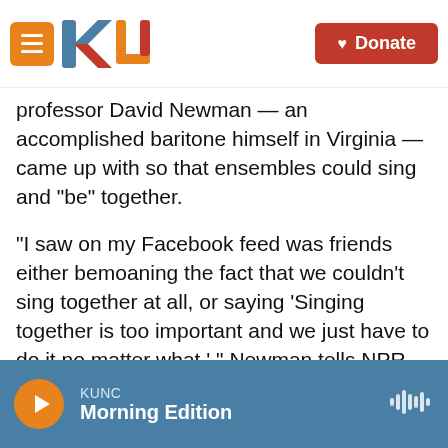KUNC — Donate
professor David Newman — an accomplished baritone himself in Virginia — came up with so that ensembles could sing and "be" together.
"I saw on my Facebook feed was friends either bemoaning the fact that we couldn't sing together at all, or saying 'Singing together is too important and we just have to do it no matter what,' " Newman tells NPR. "And I thought, neither of those is a good answer."
Newman's method uses a few simple tools — microphones, a mixer and an FM transmitter.
KUNC — Morning Edition